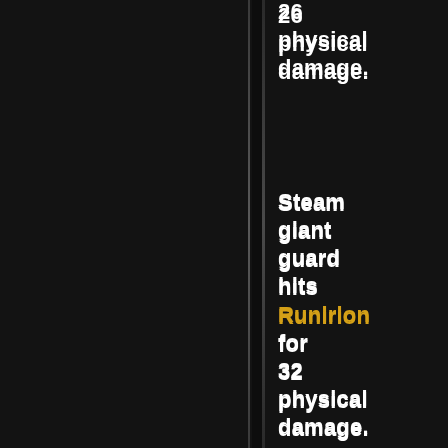26 physical damage.
Steam giant guard hits Runirion for 32 physical damage.
Steam giant guard hits Runirion for 24 physical damage.